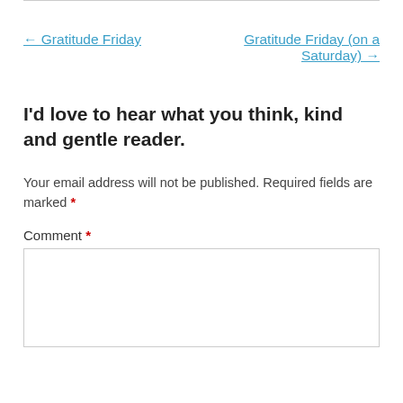← Gratitude Friday
Gratitude Friday (on a Saturday) →
I'd love to hear what you think, kind and gentle reader.
Your email address will not be published. Required fields are marked *
Comment *